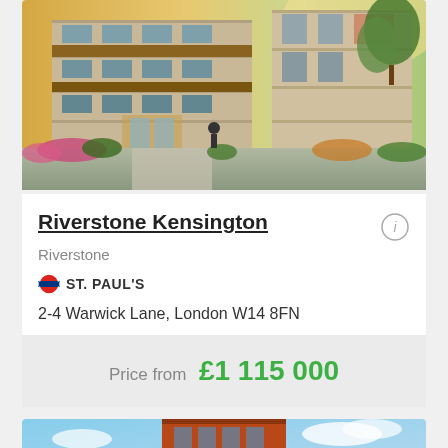[Figure (photo): Modern luxury apartment building exterior with glass facade, entrance, and landscaping with flowers and greenery]
Riverstone Kensington
Riverstone
ST. PAUL'S
2-4 Warwick Lane, London W14 8FN
Price from  £1 115 000
[Figure (photo): Brick apartment building exterior with blue sky in background]